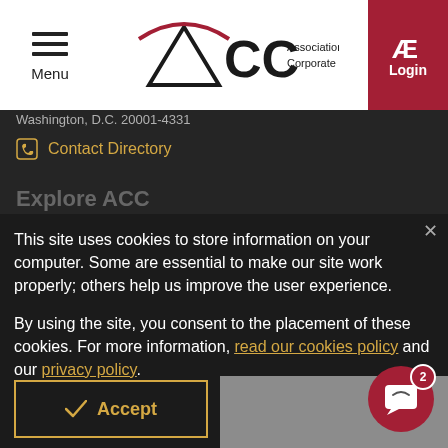[Figure (logo): ACC - Association of Corporate Counsel logo with navigation bar including hamburger menu and Login button]
Washington, D.C. 20001-4331
Contact Directory
Explore ACC
This site uses cookies to store information on your computer. Some are essential to make our site work properly; others help us improve the user experience.

By using the site, you consent to the placement of these cookies. For more information, read our cookies policy and our privacy policy.